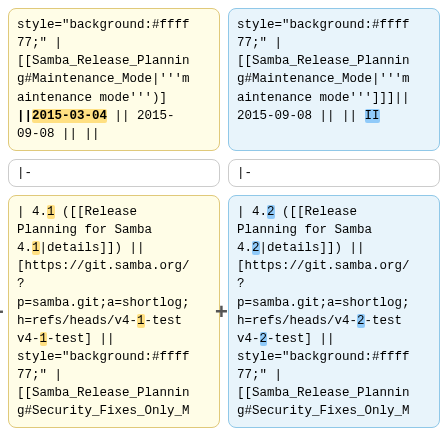style="background:#ffff77;" | [[Samba_Release_Planning#Maintenance_Mode|'''maintenance mode''']]
||2015-03-04 || 2015-09-08 || ||
style="background:#ffff77;" | [[Samba_Release_Planning#Maintenance_Mode|'''maintenance mode''']]]|| 2015-09-08 || || II
|-
|-
| 4.1 ([[Release Planning for Samba 4.1|details]]) || [https://git.samba.org/?p=samba.git;a=shortlog;h=refs/heads/v4-1-test v4-1-test] || style="background:#ffff77;" | [[Samba_Release_Planning#Security_Fixes_Only_M
| 4.2 ([[Release Planning for Samba 4.2|details]]) || [https://git.samba.org/?p=samba.git;a=shortlog;h=refs/heads/v4-2-test v4-2-test] || style="background:#ffff77;" | [[Samba_Release_Planning#Security_Fixes_Only_M